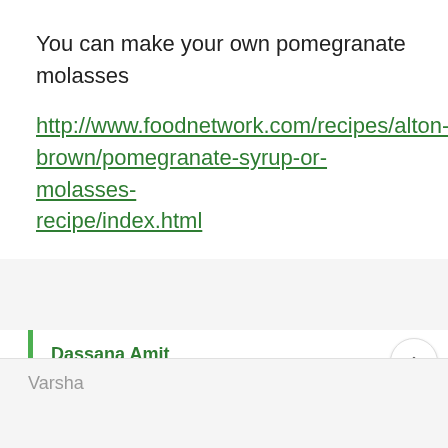You can make your own pomegranate molasses
http://www.foodnetwork.com/recipes/alton-brown/pomegranate-syrup-or-molasses-recipe/index.html
Dassana Amit
Jan 20, 2014 at 10:15 pm
thanks for the link. will try.
Varsha